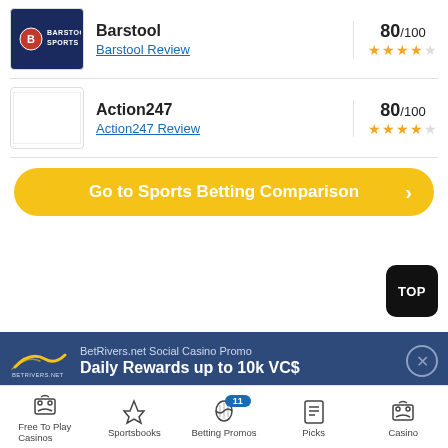[Figure (logo): Barstool Sports logo on dark blue background]
Barstool
Barstool Review
80/100 ★★★★☆
[Figure (logo): Action247 logo placeholder white box]
Action247
Action247 Review
80/100 ★★★★☆
Go to Sports Betting Comparison >
[Figure (other): TOP button black rounded square]
[Figure (logo): BetRivers.net logo on blue promo bar]
BetRivers.net Social Casino Promo
Daily Rewards up to 10k VC$
Free To Play Casinos | Sportsbooks | Betting Promos (11) | Picks | Casino